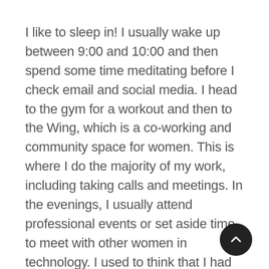I like to sleep in! I usually wake up between 9:00 and 10:00 and then spend some time meditating before I check email and social media. I head to the gym for a workout and then to the Wing, which is a co-working and community space for women. This is where I do the majority of my work, including taking calls and meetings. In the evenings, I usually attend professional events or set aside time to meet with other women in technology. I used to think that I had to be busy and stressed to be productive. For me, the opposite is true. I am at my best when I am relaxed and the day feels manageable.